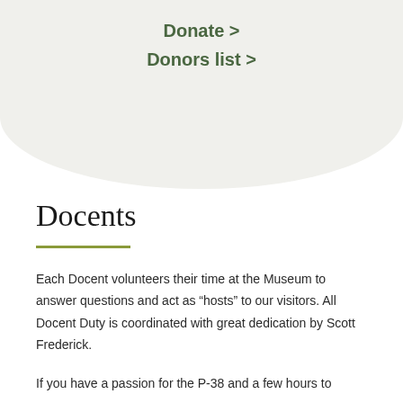Donate >
Donors list >
Docents
Each Docent volunteers their time at the Museum to answer questions and act as “hosts” to our visitors. All Docent Duty is coordinated with great dedication by Scott Frederick.
If you have a passion for the P-38 and a few hours to